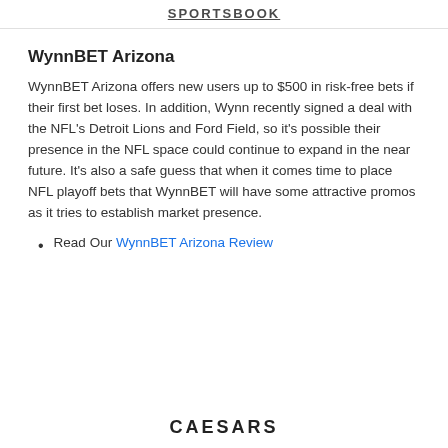SPORTSBOOK
WynnBET Arizona
WynnBET Arizona offers new users up to $500 in risk-free bets if their first bet loses. In addition, Wynn recently signed a deal with the NFL's Detroit Lions and Ford Field, so it's possible their presence in the NFL space could continue to expand in the near future. It's also a safe guess that when it comes time to place NFL playoff bets that WynnBET will have some attractive promos as it tries to establish market presence.
Read Our WynnBET Arizona Review
CAESARS